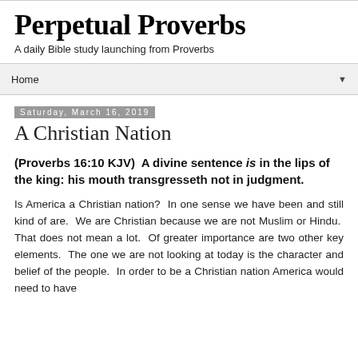Perpetual Proverbs
A daily Bible study launching from Proverbs
Home ▼
Saturday, March 16, 2019
A Christian Nation
(Proverbs 16:10 KJV)  A divine sentence is in the lips of the king: his mouth transgresseth not in judgment.
Is America a Christian nation?  In one sense we have been and still kind of are.  We are Christian because we are not Muslim or Hindu.  That does not mean a lot.  Of greater importance are two other key elements.  The one we are not looking at today is the character and belief of the people.  In order to be a Christian nation America would need to have